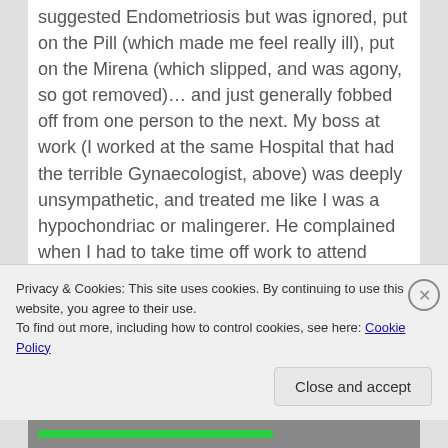suggested Endometriosis but was ignored, put on the Pill (which made me feel really ill), put on the Mirena (which slipped, and was agony, so got removed)… and just generally fobbed off from one person to the next. My boss at work (I worked at the same Hospital that had the terrible Gynaecologist, above) was deeply unsympathetic, and treated me like I was a hypochondriac or malingerer. He complained when I had to take time off work to attend medical appointments (even though this was necessary and unavoidable), threatened to put me on report, said "it's only period pain", told me to work through it by "taking an Aspirin", and when I had time off work, he would phone me at home demanding to know when I was coming back in and telling me that I was "letting the team down". You
Privacy & Cookies: This site uses cookies. By continuing to use this website, you agree to their use.
To find out more, including how to control cookies, see here: Cookie Policy